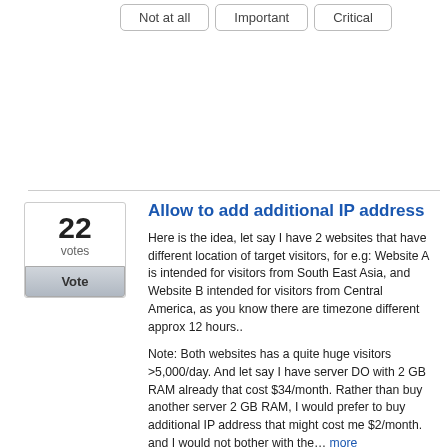Not at all
Important
Critical
Allow to add additional IP address
Here is the idea, let say I have 2 websites that have different location of target visitors, for e.g: Website A is intended for visitors from South East Asia, and Website B intended for visitors from Central America, as you know there are timezone different approx 12 hours..
Note: Both websites has a quite huge visitors >5,000/day. And let say I have server DO with 2 GB RAM already that cost $34/month. Rather than buy another server 2 GB RAM, I would prefer to buy additional IP address that might cost me $2/month. and I would not bother with the… more